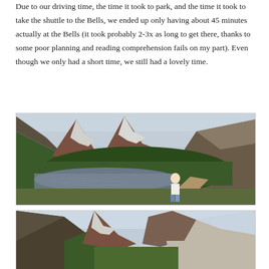Due to our driving time, the time it took to park, and the time it took to take the shuttle to the Bells, we ended up only having about 45 minutes actually at the Bells (it took probably 2-3x as long to get there, thanks to some poor planning and reading comprehension fails on my part). Even though we only had a short time, we still had a lovely time.
[Figure (photo): Young blonde child standing on a path next to Maroon Lake with the Maroon Bells peaks in the background, green forested slopes and snow-capped rocky mountains visible]
[Figure (photo): Partial view of Maroon Bells mountain landscape, showing rocky peaks and valley, partially cut off at bottom of page]